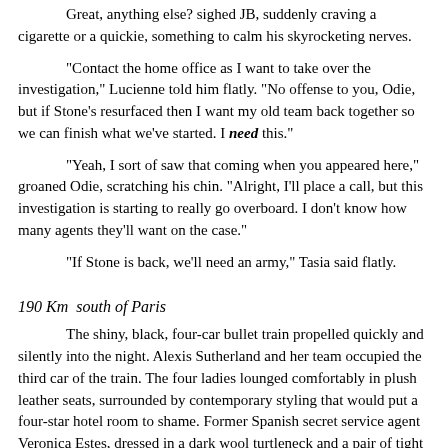Great, anything else? sighed JB, suddenly craving a cigarette or a quickie, something to calm his skyrocketing nerves.
"Contact the home office as I want to take over the investigation," Lucienne told him flatly. "No offense to you, Odie, but if Stone's resurfaced then I want my old team back together so we can finish what we've started. I need this."
"Yeah, I sort of saw that coming when you appeared here," groaned Odie, scratching his chin. "Alright, I'll place a call, but this investigation is starting to really go overboard. I don't know how many agents they'll want on the case."
"If Stone is back, we'll need an army," Tasia said flatly.
190 Km  south of Paris
The shiny, black, four-car bullet train propelled quickly and silently into the night. Alexis Sutherland and her team occupied the third car of the train. The four ladies lounged comfortably in plush leather seats, surrounded by contemporary styling that would put a four-star hotel room to shame. Former Spanish secret service agent Veronica Estes, dressed in a dark wool turtleneck and a pair of tight jeans over knee high leather boots, sat behind a glass table